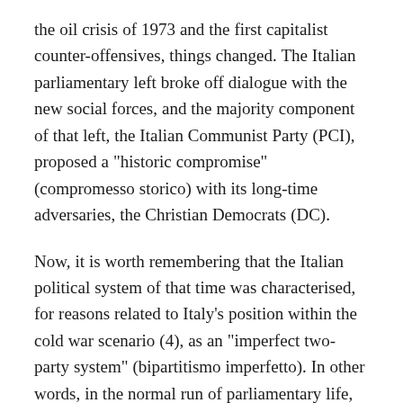the oil crisis of 1973 and the first capitalist counter-offensives, things changed. The Italian parliamentary left broke off dialogue with the new social forces, and the majority component of that left, the Italian Communist Party (PCI), proposed a "historic compromise" (compromesso storico) with its long-time adversaries, the Christian Democrats (DC).
Now, it is worth remembering that the Italian political system of that time was characterised, for reasons related to Italy's position within the cold war scenario (4), as an "imperfect two-party system" (bipartitismo imperfetto). In other words, in the normal run of parliamentary life, there was a convention that the PCI was to be excluded: whatever gains it may have made in electoral terms, the party of Enrico Berlinguer (5) was excluded from power, and that power was